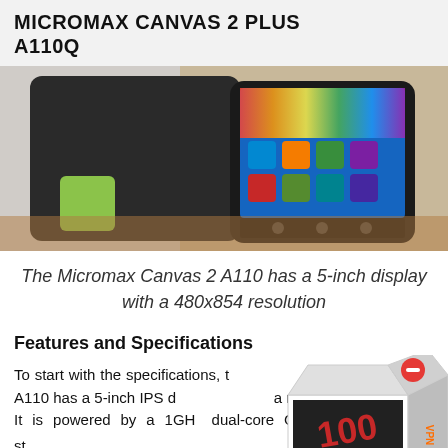MICROMAX CANVAS 2 PLUS A110Q
[Figure (photo): Photo of the Micromax Canvas 2 A110Q smartphone showing the device's front screen with Android apps and a colorful wallpaper, placed on a wooden surface]
The Micromax Canvas 2 A110 has a 5-inch display with a 480x854 resolution
Features and Specifications
To start with the specifications, the Micromax Canvas 2 A110 has a 5-inch IPS display with a resolution of 480x854. It is powered by a 1GHz dual-core CPU and runs Android 4.0.4 ICS straight out of the box but can directly be
[Figure (other): Advertisement overlay: a 3D box product image on the right side of the page, and a PIA VPN banner ad at the bottom reading 'PIA™ VPN Official Site — World's Most Trusted VPN' with an orange arrow button]